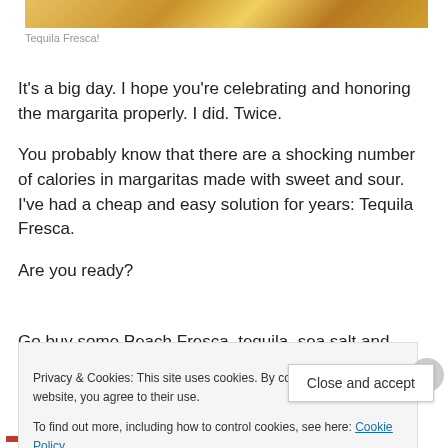[Figure (photo): Partial photo of Tequila Fresca drink, cropped at top of page]
Tequila Fresca!
It’s a big day. I hope you’re celebrating and honoring the margarita properly. I did. Twice.
You probably know that there are a shocking number of calories in margaritas made with sweet and sour. I’ve had a cheap and easy solution for years: Tequila Fresca.
Are you ready?
Go buy some Peach Fresca, tequila, sea salt and straw…
Privacy & Cookies: This site uses cookies. By continuing to use this website, you agree to their use.
To find out more, including how to control cookies, see here: Cookie Policy
Close and accept